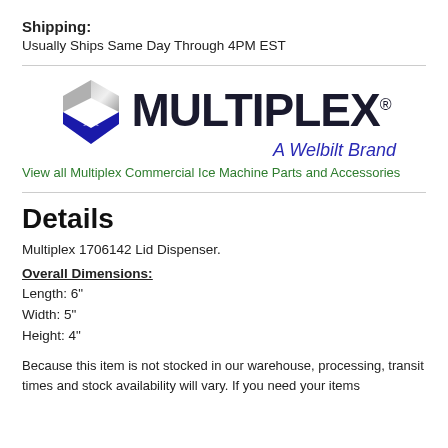Shipping:
Usually Ships Same Day Through 4PM EST
[Figure (logo): Multiplex – A Welbilt Brand logo with blue arrow/shield icon]
View all Multiplex Commercial Ice Machine Parts and Accessories
Details
Multiplex 1706142 Lid Dispenser.
Overall Dimensions:
Length: 6"
Width: 5"
Height: 4"
Because this item is not stocked in our warehouse, processing, transit times and stock availability will vary. If you need your items